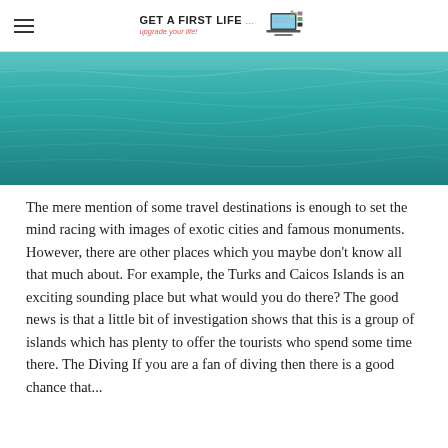Get A First Life .com — upgrade your life!
[Figure (photo): Aerial view of turquoise ocean water surface]
The mere mention of some travel destinations is enough to set the mind racing with images of exotic cities and famous monuments. However, there are other places which you maybe don't know all that much about. For example, the Turks and Caicos Islands is an exciting sounding place but what would you do there? The good news is that a little bit of investigation shows that this is a group of islands which has plenty to offer the tourists who spend some time there. The Diving If you are a fan of diving then there is a good chance that...